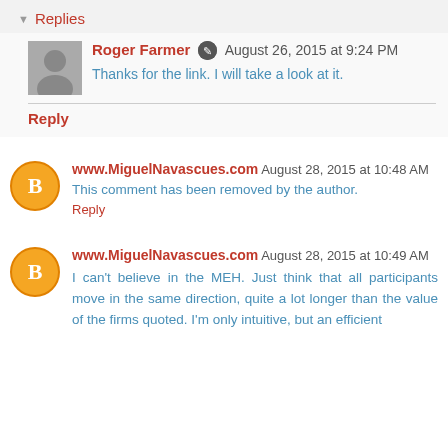Replies
Roger Farmer  August 26, 2015 at 9:24 PM
Thanks for the link. I will take a look at it.
Reply
www.MiguelNavascues.com  August 28, 2015 at 10:48 AM
This comment has been removed by the author.
Reply
www.MiguelNavascues.com  August 28, 2015 at 10:49 AM
I can't believe in the MEH. Just think that all participants move in the same direction, quite a lot longer than the value of the firms quoted. I'm only intuitive, but an efficient